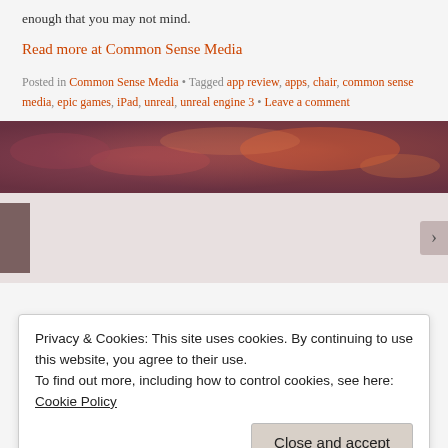enough that you may not mind.
Read more at Common Sense Media
Posted in Common Sense Media • Tagged app review, apps, chair, common sense media, epic games, iPad, unreal, unreal engine 3 • Leave a comment
[Figure (photo): Wide panoramic banner image showing a reddish-purple cloudy sky]
Privacy & Cookies: This site uses cookies. By continuing to use this website, you agree to their use.
To find out more, including how to control cookies, see here: Cookie Policy
Close and accept